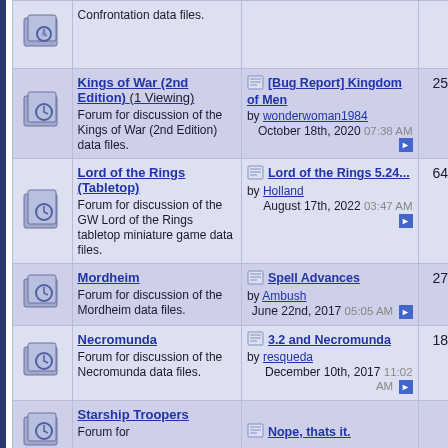|  | Forum | Last Post | Posts |
| --- | --- | --- | --- |
| [icon] | Kings of War (2nd Edition) (1 Viewing) Forum for discussion of the Kings of War (2nd Edition) data files. | [Bug Report] Kingdom of Men by wonderwoman1984 October 18th, 2020 07:38 AM | 25 |
| [icon] | Lord of the Rings (Tabletop) Forum for discussion of the GW Lord of the Rings tabletop miniature game data files. | Lord of the Rings 5.24... by Holland August 17th, 2022 03:47 AM | 64 |
| [icon] | Mordheim Forum for discussion of the Mordheim data files. | Spell Advances by Ambush June 22nd, 2017 05:05 AM | 27 |
| [icon] | Necromunda Forum for discussion of the Necromunda data files. | 3.2 and Necromunda by resqueda December 10th, 2017 11:02 AM | 18 |
| [icon] | Starship Troopers Forum for... | Nope, thats it. by ... | 1? |